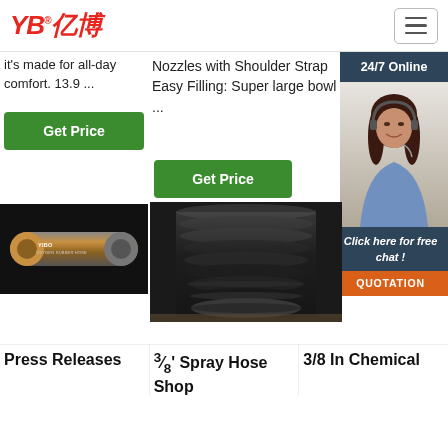[Figure (logo): YB亿博 logo in red with registered trademark symbol and hamburger menu button]
it's made for all-day comfort. 13.9 ...
Nozzles with Shoulder Strap Easy Filling: Super large bowl ...
24/7 Online
[Figure (photo): Customer service agent woman with headset smiling]
Click here for free chat !
QUOTATION
Get Price
Get Price
[Figure (photo): YIBO OXYGEN RUBBER HOSE product image on black background]
[Figure (photo): Stack of black rubber hoses/pipes]
[Figure (photo): TOP badge with orange dots]
Press Releases
³⁄₈' Spray Hose Shop
3/8 In Chemical